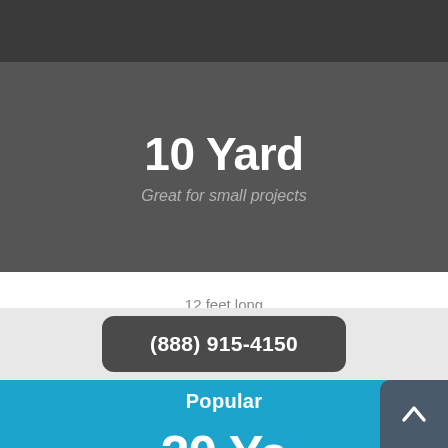10 Yard
Great for small projects
12 feet long
8 feet wide
4 feet tall
(888) 915-4150
Popular
20 Yard